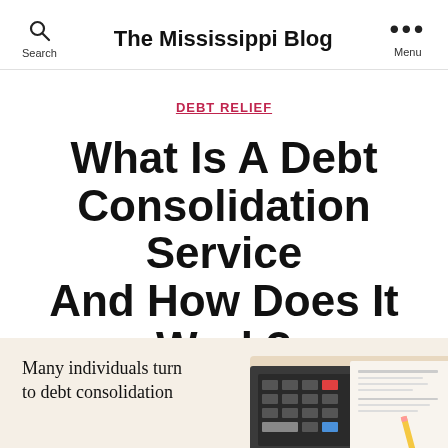The Mississippi Blog
DEBT RELIEF
What Is A Debt Consolidation Service And How Does It Work?
By admin   03/12/2020
Many individuals turn to debt consolidation